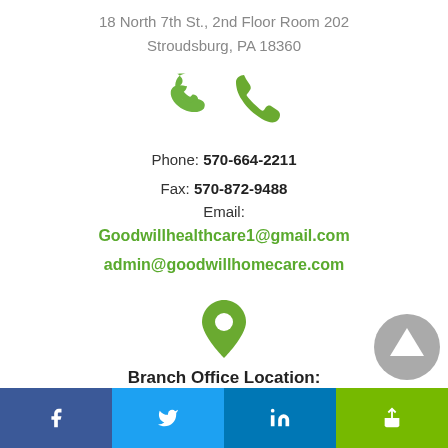18 North 7th St., 2nd Floor Room 202
Stroudsburg, PA 18360
[Figure (illustration): Green phone icon]
Phone: 570-664-2211
Fax: 570-872-9488
Email:
Goodwillhealthcare1@gmail.com
admin@goodwillhomecare.com
[Figure (illustration): Green map pin / location icon]
Branch Office Location:
2222 Route 115
Brodheadsville, PA 18322
f  [twitter bird]  in  [share icon]